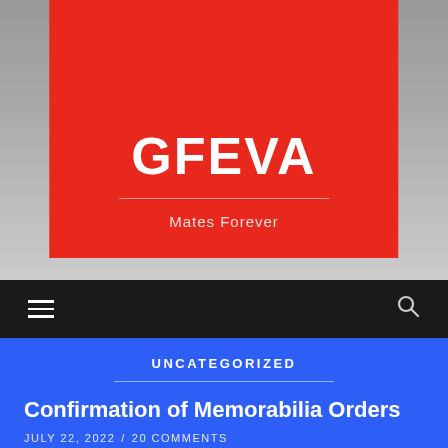[Figure (photo): Black and white historical photo of uniformed soldiers or guards standing in formation, with a red banner/logo box overlay showing site title and tagline 'Mates Forever']
≡  🔍
UNCATEGORIZED
Confirmation of Memorabilia Orders
JULY 22, 2022 / 20 COMMENTS